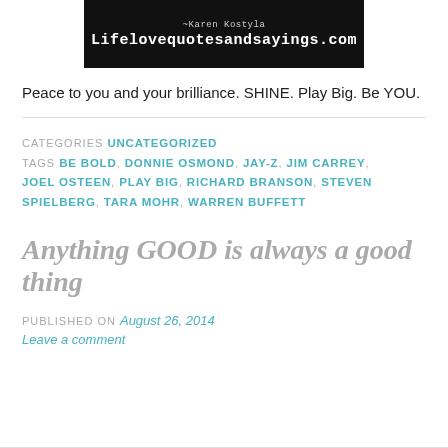[Figure (logo): Black banner image with '~Karen Kostyla' in small text above 'Lifelovequotesandsayings.com' in large typewriter font on black background]
Peace to you and your brilliance. SHINE. Play Big. Be YOU.
CATEGORIES  UNCATEGORIZED
TAGS  BE BOLD, DONNIE OSMOND, JAY-Z, JIM CARREY, JOEL OSTEEN, PLAY BIG, RICHARD BRANSON, STEVEN SPIELBERG, TARA MOHR, WARREN BUFFETT
Anything GOOD is always a good thing
PUBLISHED ON August 26, 2014
Leave a comment